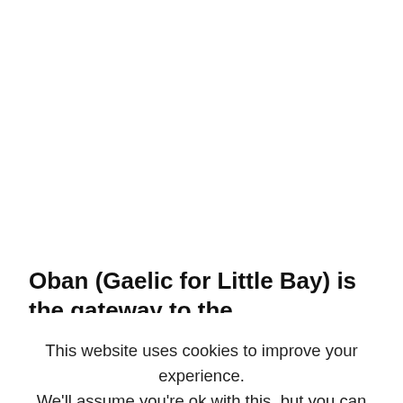Oban (Gaelic for Little Bay) is the gateway to the
This website uses cookies to improve your experience. We'll assume you're ok with this, but you can opt-out if you wish. Cookie settings ACCEPT
We make it just in time to the Oban Distillery, home to one of Scotland's finest drams. The tour is fascinating in that the magic happens in the same buildings it always has for the last 225 or so years. The old stone storage sheds are still home to barrels and one is tapped to share a taste of the seriously overproof